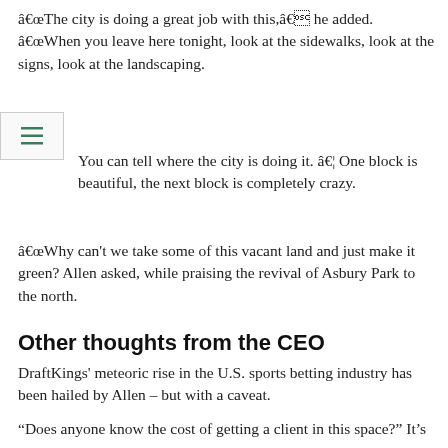â€œThe city is doing a great job with this,â€ he added. â€œWhen you leave here tonight, look at the sidewalks, look at the signs, look at the landscaping.
You can tell where the city is doing it. â€¦ One block is beautiful, the next block is completely crazy.
â€œWhy can't we take some of this vacant land and just make it green? Allen asked, while praising the revival of Asbury Park to the north.
Other thoughts from the CEO
DraftKings' meteoric rise in the U.S. sports betting industry has been hailed by Allen – but with a caveat.
"Does anyone know the cost of getting a client in this space?" It's